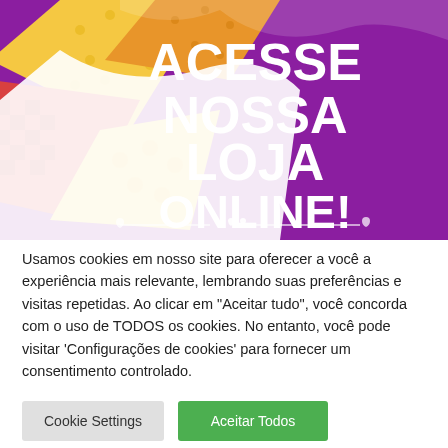[Figure (illustration): Promotional banner with purple background showing bold white text 'ACESSE NOSSA LOJA ONLINE!' on the right side, and colorful fabric/quilt pattern tiles (yellow polka dots, red checkered, orange patterns) on the left side. A decorative line with heart symbols runs along the bottom of the banner.]
Usamos cookies em nosso site para oferecer a você a experiência mais relevante, lembrando suas preferências e visitas repetidas. Ao clicar em "Aceitar tudo", você concorda com o uso de TODOS os cookies. No entanto, você pode visitar 'Configurações de cookies' para fornecer um consentimento controlado.
Cookie Settings
Aceitar Todos